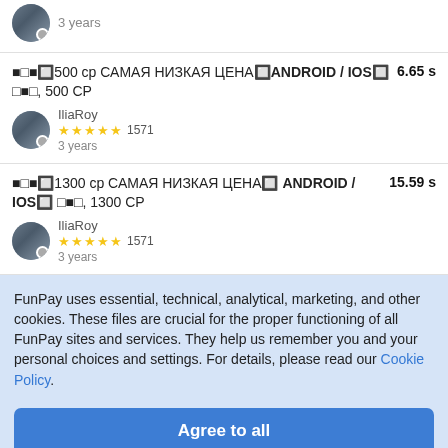■□■🔲500 ср САМАЯ НИЗКАЯ ЦЕНА🔲ANDROID / IOS🔲 □■□, 500 СР — 6.65 s | IliaRoy ★★★★★ 1571 3 years
■□■🔲1300 ср САМАЯ НИЗКАЯ ЦЕНА🔲 ANDROID / IOS🔲 □■□, 1300 СР — 15.59 s | IliaRoy ★★★★★ 1571 3 years
FunPay uses essential, technical, analytical, marketing, and other cookies. These files are crucial for the proper functioning of all FunPay sites and services. They help us remember you and your personal choices and settings. For details, please read our Cookie Policy.
Agree to all
Options